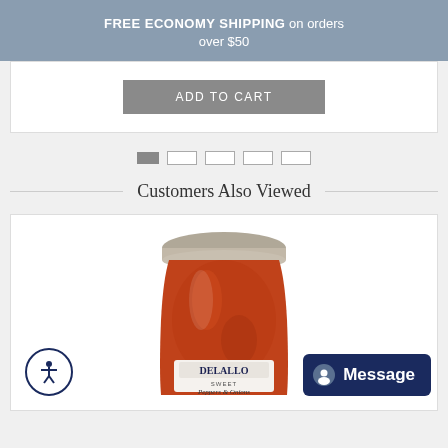FREE ECONOMY SHIPPING on orders over $50
[Figure (screenshot): Add to Cart button on white background]
[Figure (infographic): Pagination dots: one filled, four empty]
Customers Also Viewed
[Figure (photo): DeLallo Sweet Peppers & Onions jar product image with accessibility icon and Message chat button overlay]